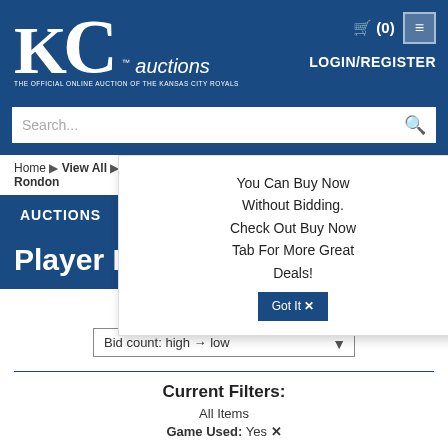[Figure (screenshot): KC Auctions website header with blue background, KC logo, auctions text, cart icon, login/register link, and menu button]
KC auctions — THE OFFICIAL ONLINE AUCTION OF THE KANSAS CITY ROYALS
LOGIN/REGISTER
Search...
Home ▶ View All ▶ Game Used ▶ Season: 2021 ▶ Player Name: Jose Rondon
AUCTIONS | BUY NOW
Player Name: Jose Rondon
You Can Buy Now Without Bidding. Check Out Buy Now Tab For More Great Deals! Got It ✕
SORT
Bid count: high → low
Current Filters:
All Items
Game Used: Yes ✕